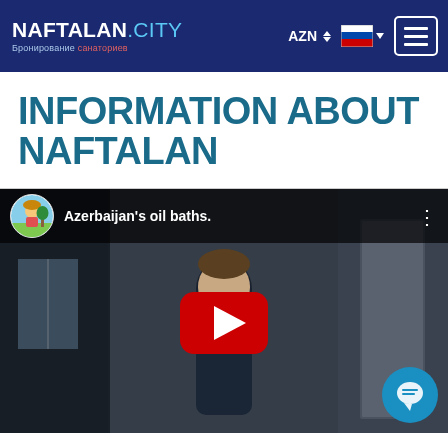NAFTALAN.CITY Бронирование санаториев | AZN | Russian flag | Menu
INFORMATION ABOUT NAFTALAN
[Figure (screenshot): YouTube video embed showing a person standing in a corridor/hallway, with video title 'Azerbaijan's oil baths.' and a red YouTube play button in the center. A blue chat bubble button is in the lower right corner.]